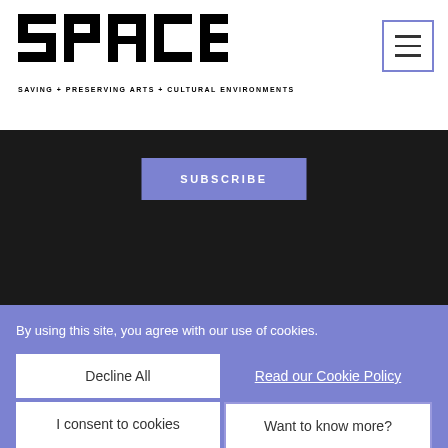SPACES — SAVING + PRESERVING ARTS + CULTURAL ENVIRONMENTS
[Figure (logo): SPACES logo in bold block letters with tagline: SAVING + PRESERVING ARTS + CULTURAL ENVIRONMENTS]
SUBSCRIBE
[Figure (logo): Large SPACES logo in bold block letters, partially visible at bottom of page]
By using this site, you agree with our use of cookies.
Decline All
Read our Cookie Policy
I consent to cookies
Want to know more?